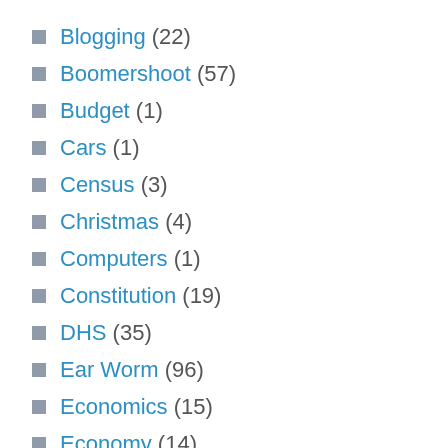Blogging (22)
Boomershoot (57)
Budget (1)
Cars (1)
Census (3)
Christmas (4)
Computers (1)
Constitution (19)
DHS (35)
Ear Worm (96)
Economics (15)
Economy (14)
Engineering (18)